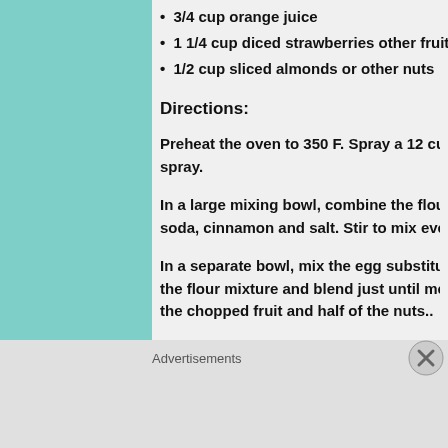3/4 cup orange juice
1 1/4 cup diced strawberries other fruit in
1/2 cup sliced almonds or other nuts
Directions:
Preheat the oven to 350 F. Spray  a 12 cup muffi spray.
In a large mixing bowl, combine the flours, sugar soda, cinnamon and salt. Stir to mix evenly.
In a separate bowl, mix the egg substitute, oil ar the flour mixture and blend just until moistened the chopped fruit and half of the nuts..
Spoon the batter into the prepared pan, filling a
Advertisements